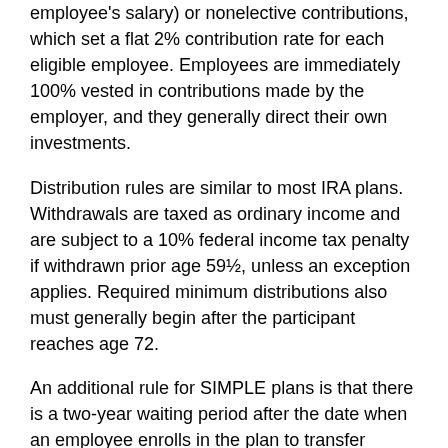employee's salary) or nonelective contributions, which set a flat 2% contribution rate for each eligible employee. Employees are immediately 100% vested in contributions made by the employer, and they generally direct their own investments.
Distribution rules are similar to most IRA plans. Withdrawals are taxed as ordinary income and are subject to a 10% federal income tax penalty if withdrawn prior age 59½, unless an exception applies. Required minimum distributions also must generally begin after the participant reaches age 72.
An additional rule for SIMPLE plans is that there is a two-year waiting period after the date when an employee enrolls in the plan to transfer contributions to another IRA on a tax-deferred basis. Any withdrawals taken during the first two years of an employee's participation in the plan are subject to a 25% tax penalty in addition to ordinary income taxes. After the first two years, early withdrawals are